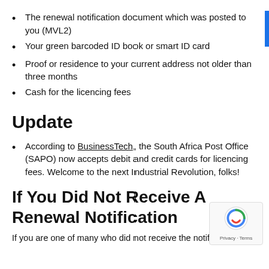The renewal notification document which was posted to you (MVL2)
Your green barcoded ID book or smart ID card
Proof or residence to your current address not older than three months
Cash for the licencing fees
Update
According to BusinessTech, the South Africa Post Office (SAPO) now accepts debit and credit cards for licencing fees. Welcome to the next Industrial Revolution, folks!
If You Did Not Receive A Renewal Notification
If you are one of many who did not receive the notification